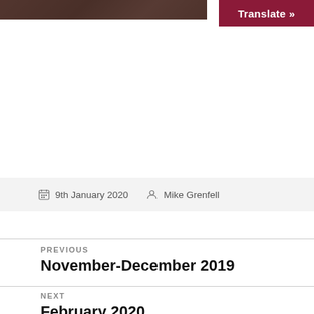[Figure (photo): Partial view of a photograph at the top of the page, mostly cropped]
Translate »
📅 9th January 2020   👤 Mike Grenfell
PREVIOUS
November-December 2019
NEXT
February 2020